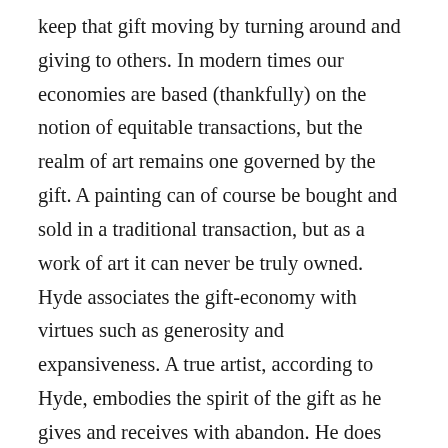keep that gift moving by turning around and giving to others. In modern times our economies are based (thankfully) on the notion of equitable transactions, but the realm of art remains one governed by the gift. A painting can of course be bought and sold in a traditional transaction, but as a work of art it can never be truly owned. Hyde associates the gift-economy with virtues such as generosity and expansiveness. A true artist, according to Hyde, embodies the spirit of the gift as he gives and receives with abandon. He does not hoard his talents and keep them for himself – he shares them with the world and this gift presumably keeps moving. For Hyde, Walt Whitman exemplifies this spirit both through the messages of his poems and in his very persona. Whitman's refusal to erect barriers between